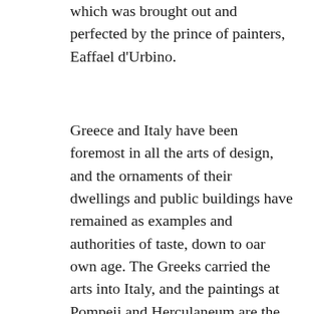which was brought out and perfected by the prince of painters, Eaffael d'Urbino.
Greece and Italy have been foremost in all the arts of design, and the ornaments of their dwellings and public buildings have remained as examples and authorities of taste, down to oar own age. The Greeks carried the arts into Italy, and the paintings at Pompeii and Herculaneum are the works of Greek artists. The Italian houses are still decorated, from the abode of the artisan to the palace of the noble. Germany, in the present day, is following Italy in Interior Decoration, and has produced some of the finest works of modern times, under the patronage and direction of Louis I., ex-King of Bavaria. In England, where wealth might be expected to minister to taste, the upholsterer, not the artist, is consulted